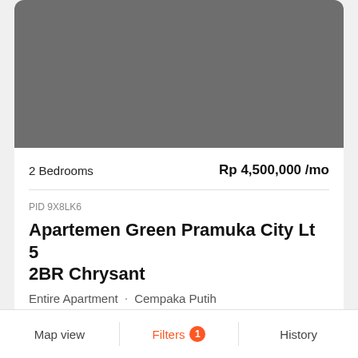[Figure (photo): Gray placeholder image for apartment listing]
2 Bedrooms
Rp 4,500,000 /mo
PID 9X8LK6
Apartemen Green Pramuka City Lt 5 2BR Chrysant
Entire Apartment · Cempaka Putih
[Figure (photo): Gray placeholder image for second apartment listing with teal bar at bottom]
Map view   Filters 1   History